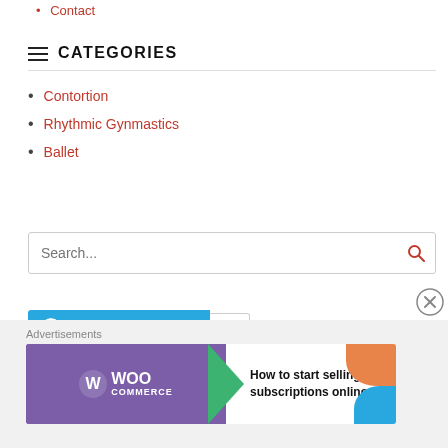Contact
CATEGORIES
Contortion
Rhythmic Gynmastics
Ballet
Search...
[Figure (other): Follow A Bender Fan WordPress follow button with count 27]
Advertisements
[Figure (other): WooCommerce advertisement banner: How to start selling subscriptions online]